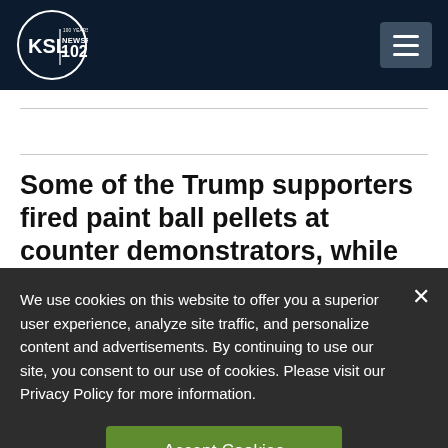[Figure (logo): KSL NewsRadio 102.7FM logo — circular badge with '100 Years of Trust' text, white on dark navy background]
Some of the Trump supporters fired paint ball pellets at counter demonstrators, while
We use cookies on this website to offer you a superior user experience, analyze site traffic, and personalize content and advertisements. By continuing to use our site, you consent to our use of cookies. Please visit our Privacy Policy for more information.
Accept Cookies